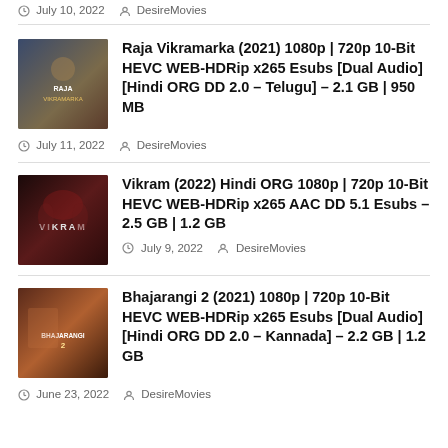July 10, 2022  DesireMovies
[Figure (photo): Movie poster for Raja Vikramarka with actors]
Raja Vikramarka (2021) 1080p | 720p 10-Bit HEVC WEB-HDRip x265 Esubs [Dual Audio] [Hindi ORG DD 2.0 – Telugu] – 2.1 GB | 950 MB
July 11, 2022  DesireMovies
[Figure (photo): Movie poster for Vikram with dark themed actors]
Vikram (2022) Hindi ORG 1080p | 720p 10-Bit HEVC WEB-HDRip x265 AAC DD 5.1 Esubs – 2.5 GB | 1.2 GB
July 9, 2022  DesireMovies
[Figure (photo): Movie poster for Bhajarangi 2 with action scene]
Bhajarangi 2 (2021) 1080p | 720p 10-Bit HEVC WEB-HDRip x265 Esubs [Dual Audio] [Hindi ORG DD 2.0 – Kannada] – 2.2 GB | 1.2 GB
June 23, 2022  DesireMovies